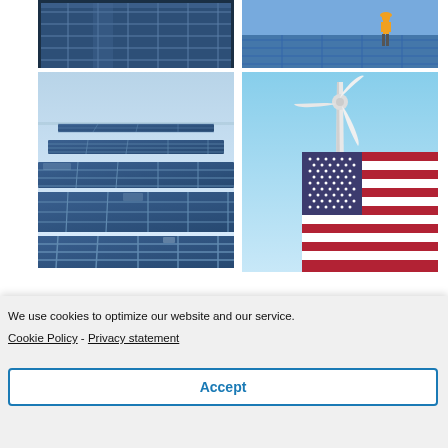[Figure (photo): Four-panel photo collage showing renewable energy: top-left shows angled solar panels in blue, top-right shows a worker in high-vis vest on solar panels, mid-left shows a large solar field from low angle, mid-right shows a wind turbine with an American flag in the foreground against a blue sky.]
We use cookies to optimize our website and our service.
Cookie Policy - Privacy statement
Accept
[Figure (photo): Partial photo visible at bottom of page, appears to show a person near solar/energy equipment.]